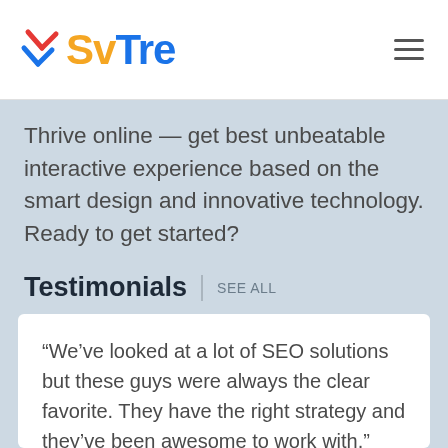[Figure (logo): SvTre logo with colorful icon and text: 'Sv' in yellow/orange, 'Tre' in blue, with a stylized multi-colored zigzag icon to the left]
Thrive online — get best unbeatable interactive experience based on the smart design and innovative technology. Ready to get started?
Testimonials | SEE ALL
“We’ve looked at a lot of SEO solutions but these guys were always the clear favorite. They have the right strategy and they’ve been awesome to work with.”